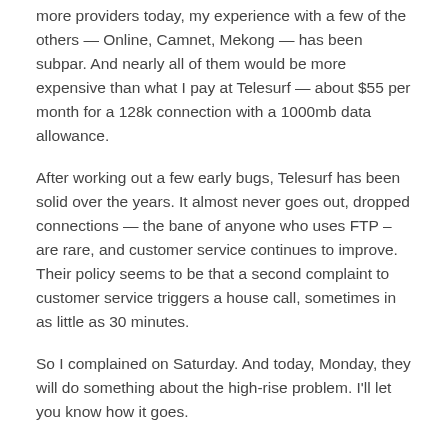more providers today, my experience with a few of the others — Online, Camnet, Mekong — has been subpar. And nearly all of them would be more expensive than what I pay at Telesurf — about $55 per month for a 128k connection with a 1000mb data allowance.
After working out a few early bugs, Telesurf has been solid over the years. It almost never goes out, dropped connections — the bane of anyone who uses FTP –are rare, and customer service continues to improve. Their policy seems to be that a second complaint to customer service triggers a house call, sometimes in as little as 30 minutes.
So I complained on Saturday. And today, Monday, they will do something about the high-rise problem. I'll let you know how it goes.
Tagged: ISPs, Telesurf, Wimax